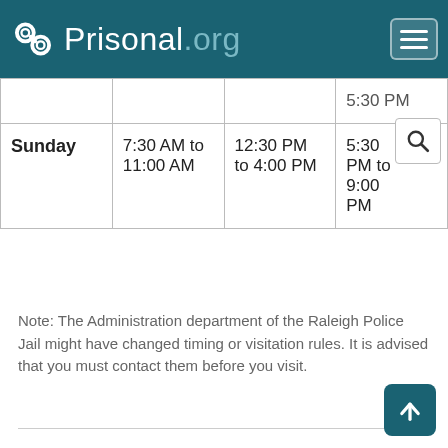Prisonal.org
| Day | Time Slot 1 | Time Slot 2 | Time Slot 3 |
| --- | --- | --- | --- |
| Sunday | 7:30 AM to 11:00 AM | 12:30 PM to 4:00 PM | 5:30 PM to 9:00 PM |
Note: The Administration department of the Raleigh Police Jail might have changed timing or visitation rules. It is advised that you must contact them before you visit.